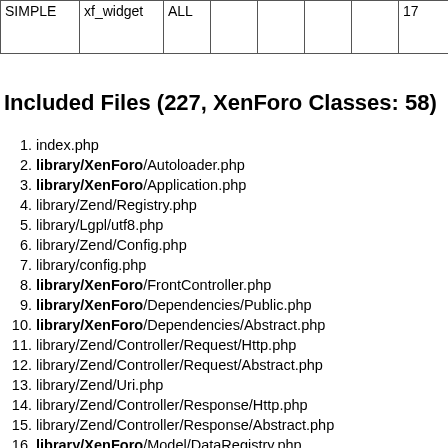| SIMPLE | xf_widget | ALL |  |  |  |  | 17 | wi
Usi
file |
Included Files (227, XenForo Classes: 58)
1. index.php
2. library/XenForo/Autoloader.php
3. library/XenForo/Application.php
4. library/Zend/Registry.php
5. library/Lgpl/utf8.php
6. library/Zend/Config.php
7. library/config.php
8. library/XenForo/FrontController.php
9. library/XenForo/Dependencies/Public.php
10. library/XenForo/Dependencies/Abstract.php
11. library/Zend/Controller/Request/Http.php
12. library/Zend/Controller/Request/Abstract.php
13. library/Zend/Uri.php
14. library/Zend/Controller/Response/Http.php
15. library/Zend/Controller/Response/Abstract.php
16. library/XenForo/Model/DataRegistry.php
17. library/XenForo/Model.php
18. library/Zend/Cache.php
19. library/Zend/Cache/Backend/libmemcached.php